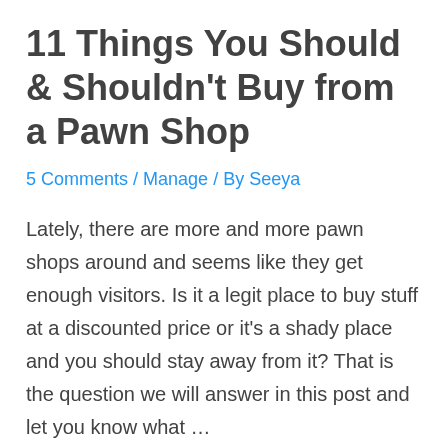11 Things You Should & Shouldn't Buy from a Pawn Shop
5 Comments / Manage / By Seeya
Lately, there are more and more pawn shops around and seems like they get enough visitors. Is it a legit place to buy stuff at a discounted price or it's a shady place and you should stay away from it? That is the question we will answer in this post and let you know what …
Read More »